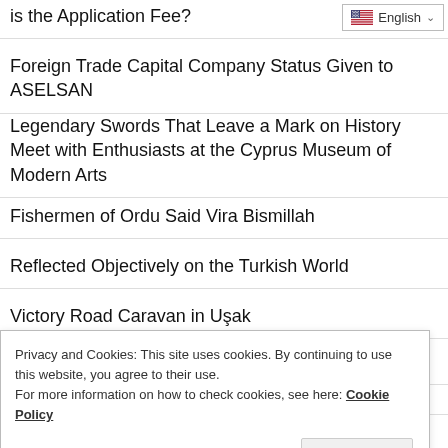is the Application Fee?
Foreign Trade Capital Company Status Given to ASELSAN
Legendary Swords That Leave a Mark on History Meet with Enthusiasts at the Cyprus Museum of Modern Arts
Fishermen of Ordu Said Vira Bismillah
Reflected Objectively on the Turkish World
Victory Road Caravan in Uşak
İzmir Fair, Terra Madre Ready for Anatolia
Shoexpo Opened Its Doors in İzmir for the 49th Time
Sevgi Soysal Library Opened in Taksim
Privacy and Cookies: This site uses cookies. By continuing to use this website, you agree to their use.
For more information on how to check cookies, see here: Cookie Policy
to the Expertise Sector